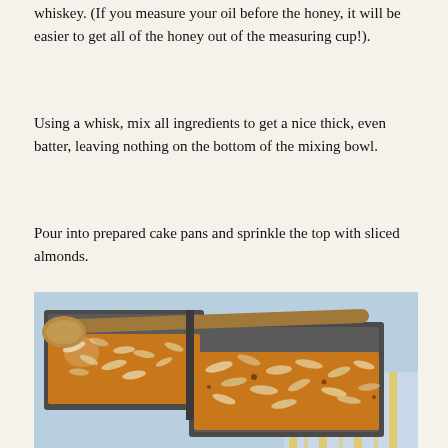whiskey. (If you measure your oil before the honey, it will be easier to get all of the honey out of the measuring cup!).
Using a whisk, mix all ingredients to get a nice thick, even batter, leaving nothing on the bottom of the mixing bowl.
Pour into prepared cake pans and sprinkle the top with sliced almonds.
[Figure (photo): Two rectangular metal cake/loaf pans filled with batter topped with sliced almonds, a wooden spoon resting across the pans, placed on a blue and yellow striped cloth against a light blue background.]